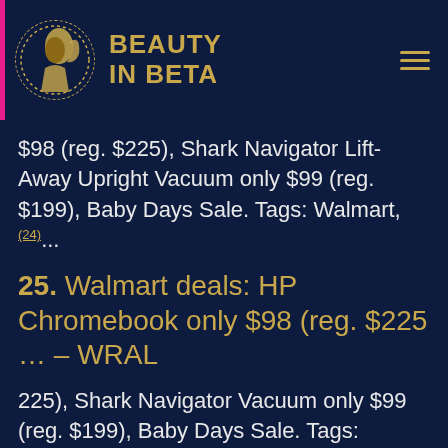BEAUTY IN BETA
$98 (reg. $225), Shark Navigator Lift-Away Upright Vacuum only $99 (reg. $199), Baby Days Sale. Tags: Walmart, (24)...
25. Walmart deals: HP Chromebook only $98 (reg. $225 … – WRAL
225), Shark Navigator Vacuum only $99 (reg. $199), Baby Days Sale. Tags: Walmart; SmartShopper; clearance;